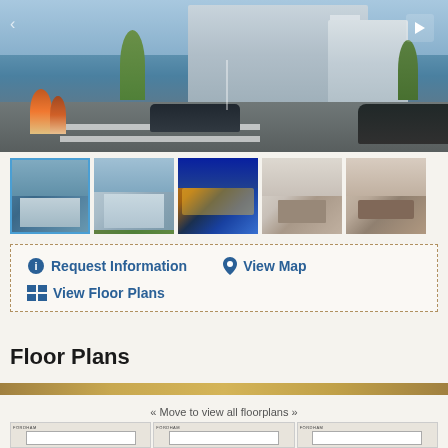[Figure (photo): Hero image of modern residential apartment building exterior with people walking on crosswalk in foreground and cars on street. Play button visible top right.]
[Figure (photo): Row of 5 thumbnail images of the property: exterior building view (active/selected with blue border), another exterior view, night pool/lobby view, interior living room, interior bedroom.]
Request Information
View Map
View Floor Plans
Floor Plans
« Move to view all floorplans »
[Figure (other): Three Fordham floor plan thumbnail images at the bottom of the page.]